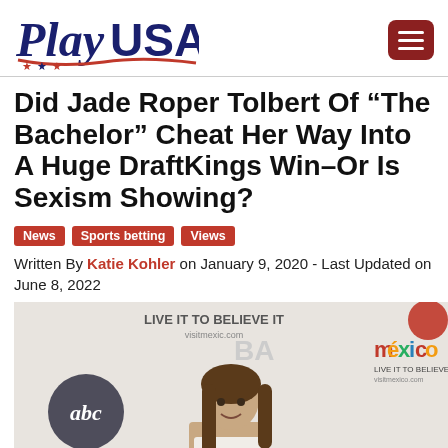PlayUSA
Did Jade Roper Tolbert Of “The Bachelor” Cheat Her Way Into A Huge DraftKings Win–Or Is Sexism Showing?
News
Sports betting
Views
Written By Katie Kohler on January 9, 2020 - Last Updated on June 8, 2022
[Figure (photo): Woman with long brown hair smiling at camera at an event, with ABC, México, and Bachelor in Paradise logos in the background]